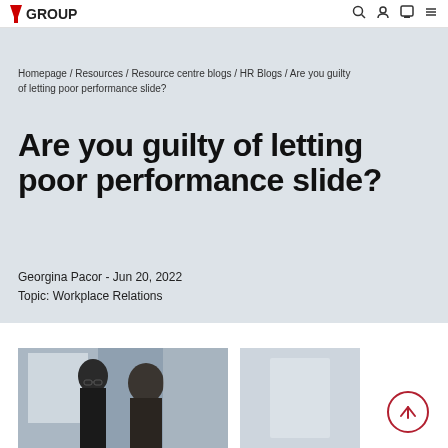AIGROUP [navigation icons]
Homepage / Resources / Resource centre blogs / HR Blogs / Are you guilty of letting poor performance slide?
Are you guilty of letting poor performance slide?
Georgina Pacor - Jun 20, 2022
Topic: Workplace Relations
[Figure (photo): Two people in an office setting, one with glasses, viewed from behind/side, discussing something]